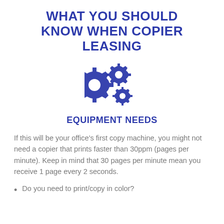WHAT YOU SHOULD KNOW WHEN COPIER LEASING
[Figure (illustration): Two interlocking gear icons in dark blue, one large and one small, representing equipment/settings.]
EQUIPMENT NEEDS
If this will be your office's first copy machine, you might not need a copier that prints faster than 30ppm (pages per minute). Keep in mind that 30 pages per minute mean you receive 1 page every 2 seconds.
Do you need to print/copy in color?